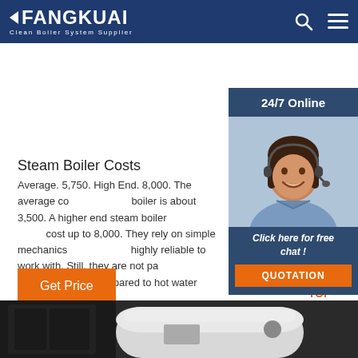FANGKUAI — Clean Boiler System Supplier
[Figure (photo): Customer service representative with headset, smiling, shown in sidebar widget with '24/7 Online' header and 'Click here for free chat!' text with QUOTATION button]
Steam Boiler Costs
Average. 5,750. High End. 8,000. The average cost of a steam boiler is about 3,500. A higher end steam boiler system might cost up to 8,000. They rely on simple mechanics and they are highly reliable to work with. Still, they are not particularly efficient or quiet compared to hot water boilers ...
[Figure (photo): Bottom portion showing a white cylindrical boiler on dark background]